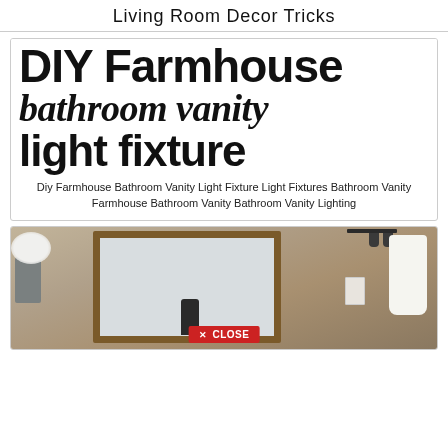Living Room Decor Tricks
[Figure (illustration): DIY Farmhouse bathroom vanity light fixture typographic graphic with large bold black text on white background]
Diy Farmhouse Bathroom Vanity Light Fixture Light Fixtures Bathroom Vanity Farmhouse Bathroom Vanity Bathroom Vanity Lighting
[Figure (photo): Bathroom interior photo showing a wood-framed mirror, white flowers in a vase, dark faucet, white towel on a rack, and a light fixture on the right side, with a red CLOSE button overlay at the bottom center]